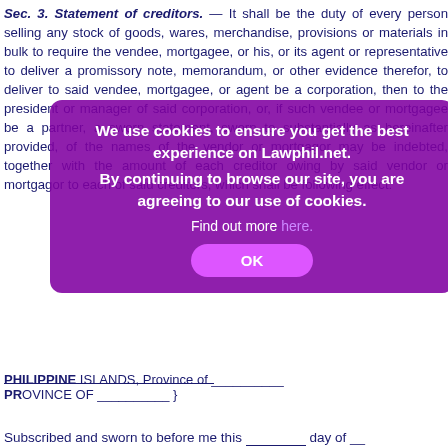Sec. 3. Statement of creditors. — It shall be the duty of every person selling any stock of goods, wares, merchandise, provisions or materials in bulk to require the vendee, mortgagee, or his, or its agent or representative to deliver a promissory note, memorandum, or other evidence therefor, to deliver to said vendee, mortgagee, or agent be a corporation, then to the president or manager of said corporation, or, if such vendee or mortgagee be a partner, a sworn statement, sworn to substantially as hereinafter provided, of the names of the vendor or mortgagor may be indebted, together with the amount of each creditor owing by said vendor or mortgagor to each of said creditors, which shall be following effect:
PHILIPPINE ISLANDS, Province of __________
PROVINCE OF __________ }
Before me, the __________, personally appeared __________, (agent or representative, as the case may be), bearing cedula No. __________ day of __________ who, by me being first duly sworn, deposes and says: the foregoing statement contains the names of all of the creditors of __________ together with their addresses, and that the amount set opposite each name is now due and owing, and which shall become due and owing from __________ such creditors, and that there are no creditors holding claims against him on account of goods, wares, merchandise, provisions or materials furnished, or money borrowed, to carry on the business of which said goods are, or materials are a part, other than as set forth in said statement.
Subscribed and sworn to before me this _______ day of __
[Figure (infographic): Cookie consent overlay popup with purple/magenta background. Text reads: 'We use cookies to ensure you get the best experience on Lawphil.net. By continuing to browse our site, you are agreeing to our use of cookies. Find out more here.' with an OK button.]